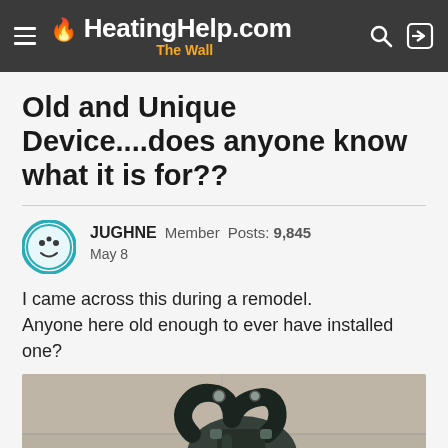HeatingHelp.com — The Wall
Old and Unique Device....does anyone know what it is for??
JUGHNE   Member   Posts: 9,845
May 8
I came across this during a remodel.
Anyone here old enough to ever have installed one?
[Figure (photo): A dark metal curved pipe or valve fitting with a U-shaped bend and fittings, photographed on a concrete surface.]